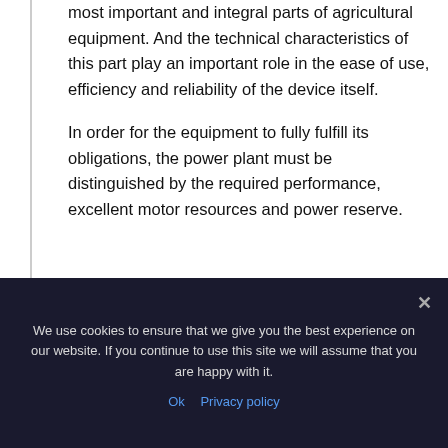most important and integral parts of agricultural equipment. And the technical characteristics of this part play an important role in the ease of use, efficiency and reliability of the device itself.
In order for the equipment to fully fulfill its obligations, the power plant must be distinguished by the required performance, excellent motor resources and power reserve.
We use cookies to ensure that we give you the best experience on our website. If you continue to use this site we will assume that you are happy with it.
Ok   Privacy policy